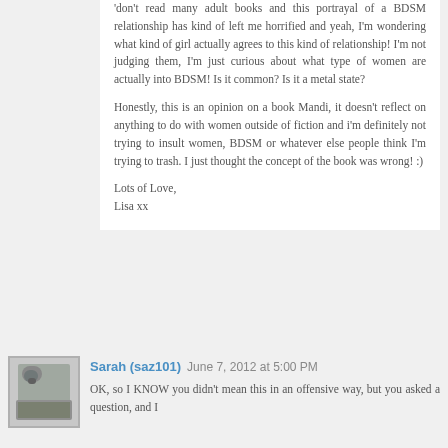'don't read many adult books and this portrayal of a BDSM relationship has kind of left me horrified and yeah, I'm wondering what kind of girl actually agrees to this kind of relationship! I'm not judging them, I'm just curious about what type of women are actually into BDSM! Is it common? Is it a metal state?

Honestly, this is an opinion on a book Mandi, it doesn't reflect on anything to do with women outside of fiction and i'm definitely not trying to insult women, BDSM or whatever else people think I'm trying to trash. I just thought the concept of the book was wrong! :)

Lots of Love,
Lisa xx
Sarah (saz101)  June 7, 2012 at 5:00 PM
OK, so I KNOW you didn't mean this in an offensive way, but you asked a question, and I